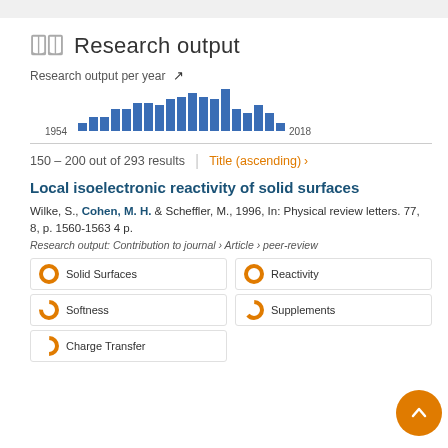Research output
Research output per year
[Figure (bar-chart): Research output per year]
150 - 200 out of 293 results
Title (ascending) ›
Local isoelectronic reactivity of solid surfaces
Wilke, S., Cohen, M. H. & Scheffler, M., 1996, In: Physical review letters. 77, 8, p. 1560-1563 4 p.
Research output: Contribution to journal › Article › peer-review
Solid Surfaces
Reactivity
Softness
Supplements
Charge Transfer